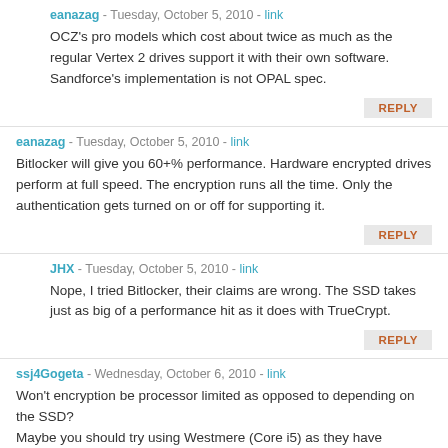eanazag - Tuesday, October 5, 2010 - link
OCZ's pro models which cost about twice as much as the regular Vertex 2 drives support it with their own software. Sandforce's implementation is not OPAL spec.
REPLY
eanazag - Tuesday, October 5, 2010 - link
Bitlocker will give you 60+% performance. Hardware encrypted drives perform at full speed. The encryption runs all the time. Only the authentication gets turned on or off for supporting it.
REPLY
JHX - Tuesday, October 5, 2010 - link
Nope, I tried Bitlocker, their claims are wrong. The SSD takes just as big of a performance hit as it does with TrueCrypt.
REPLY
ssj4Gogeta - Wednesday, October 6, 2010 - link
Won't encryption be processor limited as opposed to depending on the SSD?
Maybe you should try using Westmere (Core i5) as they have hardware encryption support and will be much faster. (I think Windows 7 Bitlocker has support for it? Not sure.)